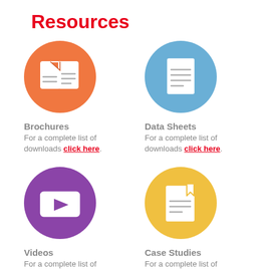Resources
[Figure (illustration): Orange circle with brochure/folded document icon]
[Figure (illustration): Blue circle with document/data sheet icon]
Brochures
For a complete list of downloads click here.
Data Sheets
For a complete list of downloads click here.
[Figure (illustration): Purple circle with video play button icon]
[Figure (illustration): Yellow/gold circle with case studies/bookmark document icon]
Videos
For a complete list of downloads click here.
Case Studies
For a complete list of downloads click here.